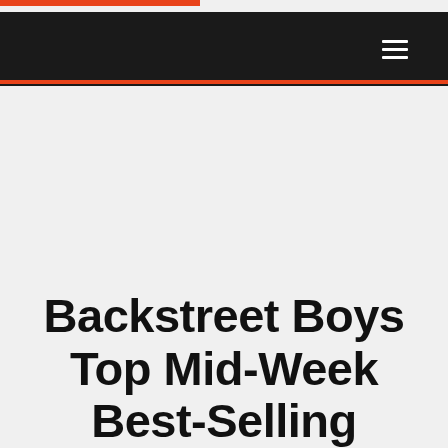Backstreet Boys Top Mid-Week Best-Selling Events List